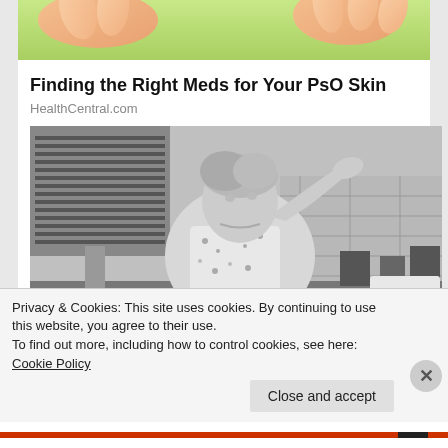[Figure (photo): Top portion of a photo showing hands with skin condition on a green/beige background, cropped at top]
Finding the Right Meds for Your PsO Skin
HealthCentral.com
[Figure (photo): Black and white vintage photo of a woman in a kitchen wearing an apron, hand raised to her forehead, looking stressed]
Privacy & Cookies: This site uses cookies. By continuing to use this website, you agree to their use.
To find out more, including how to control cookies, see here: Cookie Policy
Close and accept